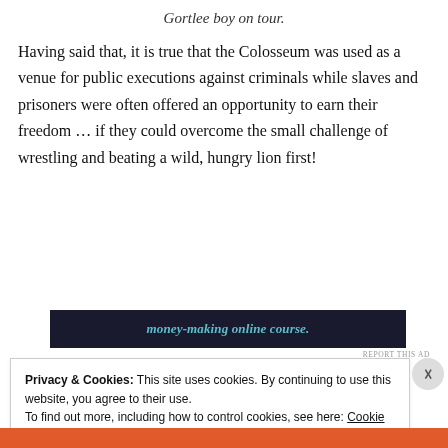Gortlee boy on tour.
Having said that, it is true that the Colosseum was used as a venue for public executions against criminals while slaves and prisoners were often offered an opportunity to earn their freedom … if they could overcome the small challenge of wrestling and beating a wild, hungry lion first!
[Figure (other): Dark advertisement banner with teal italic text reading 'money-making online course.']
Privacy & Cookies: This site uses cookies. By continuing to use this website, you agree to their use.
To find out more, including how to control cookies, see here: Cookie Policy
Close and accept